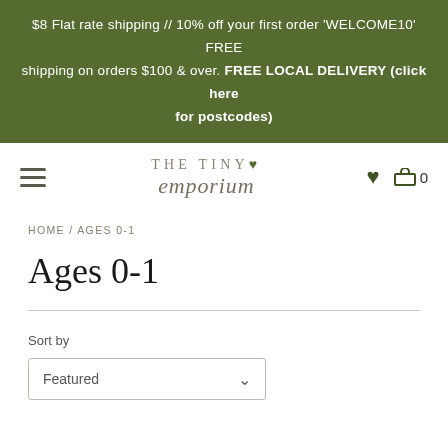$8 Flat rate shipping // 10% off your first order 'WELCOME10' FREE shipping on orders $100 & over. FREE LOCAL DELIVERY (click here for postcodes)
[Figure (logo): The Tiny Emporium logo with heart icon in olive green, navigation hamburger menu, heart icon and cart with 0 items]
HOME / AGES 0-1
Ages 0-1
Sort by
Featured